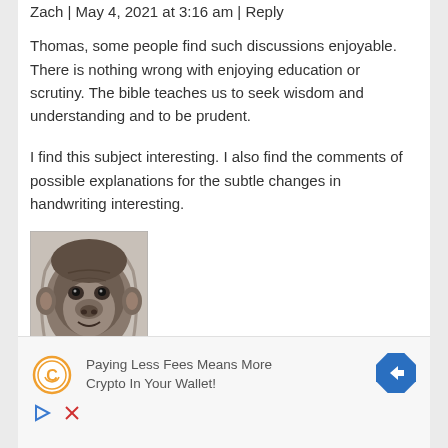Zach | May 4, 2021 at 3:16 am | Reply
Thomas, some people find such discussions enjoyable. There is nothing wrong with enjoying education or scrutiny. The bible teaches us to seek wisdom and understanding and to be prudent.
I find this subject interesting. I also find the comments of possible explanations for the subtle changes in handwriting interesting.
[Figure (photo): A grayscale photograph of an animal face, appears to be a primate or feline looking directly at the camera with an intense expression.]
[Figure (infographic): Advertisement banner: 'Paying Less Fees Means More Crypto In Your Wallet!' with a coin icon on the left and a blue diamond-shaped navigation arrow icon on the right. Below are playback and close controls.]